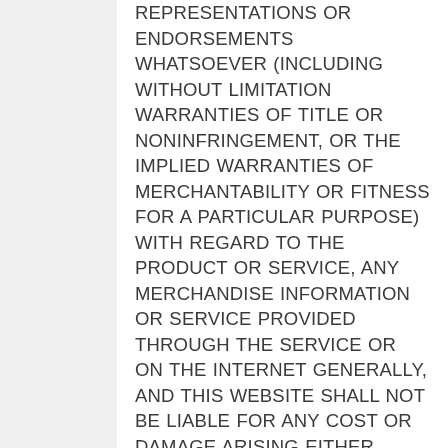REPRESENTATIONS OR ENDORSEMENTS WHATSOEVER (INCLUDING WITHOUT LIMITATION WARRANTIES OF TITLE OR NONINFRINGEMENT, OR THE IMPLIED WARRANTIES OF MERCHANTABILITY OR FITNESS FOR A PARTICULAR PURPOSE) WITH REGARD TO THE PRODUCT OR SERVICE, ANY MERCHANDISE INFORMATION OR SERVICE PROVIDED THROUGH THE SERVICE OR ON THE INTERNET GENERALLY, AND THIS WEBSITE SHALL NOT BE LIABLE FOR ANY COST OR DAMAGE ARISING EITHER DIRECTLY OR INDIRECTLY FROM ANY SUCH TRANSACTION.  IT IS SOLELY YOUR RESPONSIBILITY TO EVALUATE